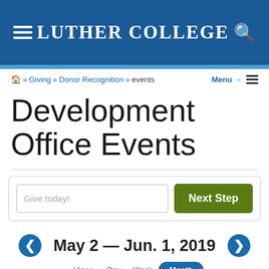Luther College
Home » Giving » Donor Recognition » events   Menu →
Development Office Events
[Figure (screenshot): Donation input widget with 'Give today!' text field and 'Next Step' green button]
May 2 — Jun. 1, 2019
View: Day   Week   Month